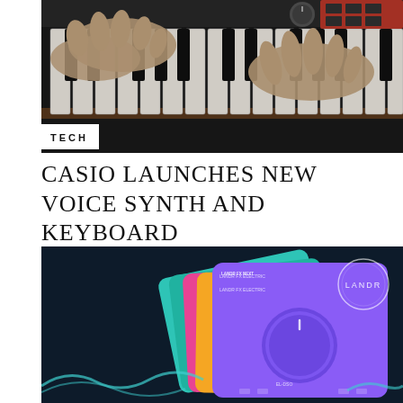[Figure (photo): Hands playing black and white piano/keyboard keys, with red panel controls visible on the keyboard in the upper right]
TECH
CASIO LAUNCHES NEW VOICE SYNTH AND KEYBOARD
[Figure (photo): Dark navy background showing stacked colorful LANDR plugin cards in teal, pink/magenta, orange, and purple colors, the top purple card having a large knob. LANDR logo in a circle on the right side. Decorative wave shapes at the bottom.]